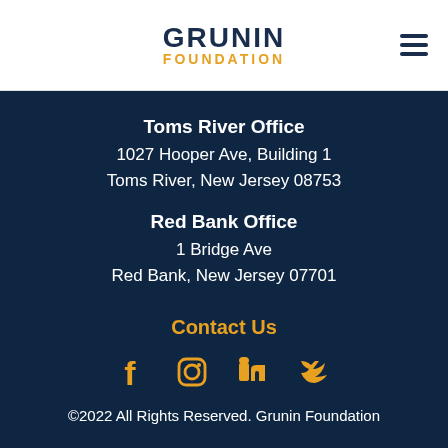GRUNIN FOUNDATION
Toms River Office
1027 Hooper Ave, Building 1
Toms River, New Jersey 08753
Red Bank Office
1 Bridge Ave
Red Bank, New Jersey 07701
Contact Us
[Figure (infographic): Social media icons: Facebook, Instagram, LinkedIn, Twitter in gold/yellow color]
©2022 All Rights Reserved. Grunin Foundation